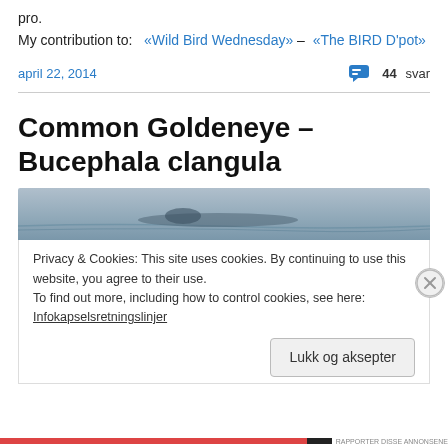pro.
My contribution to:   «Wild Bird Wednesday» –  «The BIRD D'pot»
april 22, 2014   💬 44 svar
Common Goldeneye – Bucephala clangula
[Figure (photo): Partial view of a bird (Common Goldeneye) on water, cropped at top]
Privacy & Cookies: This site uses cookies. By continuing to use this website, you agree to their use.
To find out more, including how to control cookies, see here:
Infokapselsretningslinjer
Lukk og aksepter